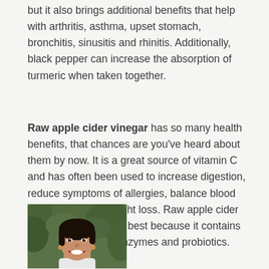but it also brings additional benefits that help with arthritis, asthma, upset stomach, bronchitis, sinusitis and rhinitis. Additionally, black pepper can increase the absorption of turmeric when taken together.
Raw apple cider vinegar has so many health benefits, that chances are you've heard about them by now. It is a great source of vitamin C and has often been used to increase digestion, reduce symptoms of allergies, balance blood sugar and aid in weight loss. Raw apple cider vinegar by Bragg's is best because it contains naturally occurring enzymes and probiotics.
[Figure (photo): Portrait photo of a young woman with dark hair, smiling, with green foliage in the background]